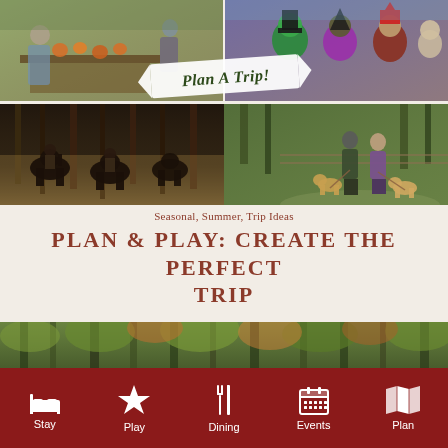[Figure (photo): Four-panel photo collage showing: top-left - family decorating pumpkins at outdoor table; top-right - costumed mascot characters in Halloween costumes; bottom-left - horseback riders silhouetted in forest; bottom-right - couple walking dogs on path. 'Plan A Trip!' banner overlaid diagonally across center.]
Seasonal, Summer, Trip Ideas
PLAN & PLAY: CREATE THE PERFECT TRIP
[Figure (photo): Wide landscape photo of a forest with colorful autumn foliage and trees.]
Stay  Play  Dining  Events  Plan